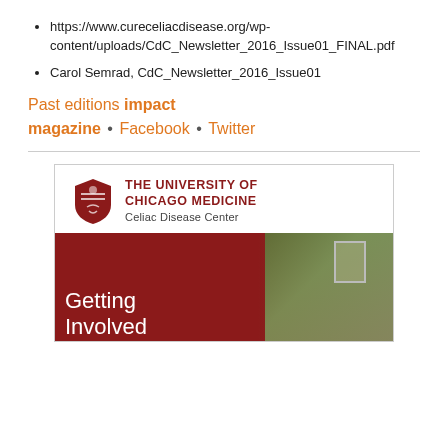https://www.cureceliacdisease.org/wp-content/uploads/CdC_Newsletter_2016_Issue01_FINAL.pdf
Carol Semrad, CdC_Newsletter_2016_Issue01
Past editions impact magazine • Facebook • Twitter
[Figure (illustration): University of Chicago Medicine Celiac Disease Center newsletter cover showing the header with shield logo, title 'THE UNIVERSITY OF CHICAGO MEDICINE Celiac Disease Center', and a newsletter image with text 'Getting Involved' over a dark red background with ivy-covered building photography on the right.]